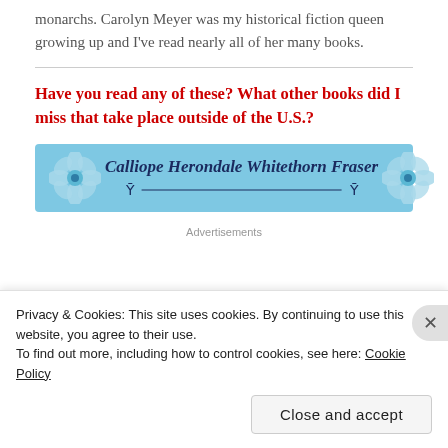monarchs. Carolyn Meyer was my historical fiction queen growing up and I've read nearly all of her many books.
Have you read any of these? What other books did I miss that take place outside of the U.S.?
[Figure (illustration): Light blue banner with decorative blue flowers on each side and the text 'Calliope Herondale Whitethorn Fraser' in bold italic dark blue font, with a decorative curved line underneath.]
Advertisements
Privacy & Cookies: This site uses cookies. By continuing to use this website, you agree to their use.
To find out more, including how to control cookies, see here: Cookie Policy
Close and accept